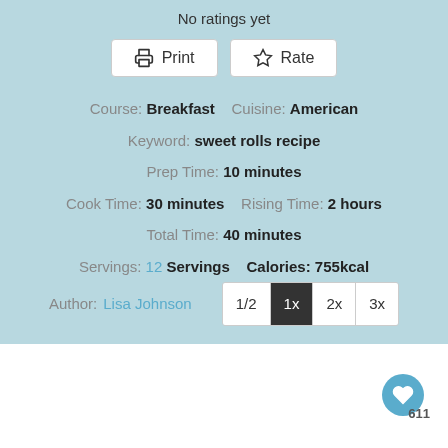No ratings yet
Print  Rate
Course: Breakfast    Cuisine: American
Keyword: sweet rolls recipe
Prep Time: 10 minutes
Cook Time: 30 minutes    Rising Time: 2 hours
Total Time: 40 minutes
Servings: 12 Servings    Calories: 555kcal
Author: Lisa Johnson    1/2  1x  2x  3x
611
PUMA
PUMA Cali Collection
SHOP NOW